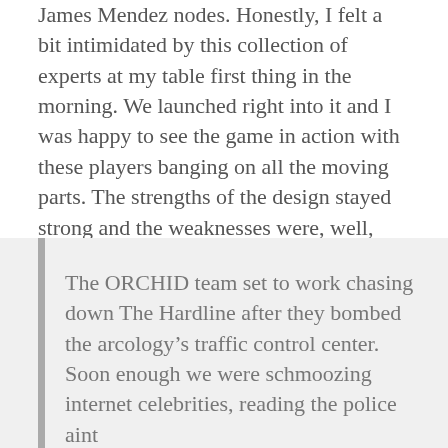James Mendez nodes. Honestly, I felt a bit intimidated by this collection of experts at my table first thing in the morning. We launched right into it and I was happy to see the game in action with these players banging on all the moving parts. The strengths of the design stayed strong and the weaknesses were, well, weak. It might seem silly but it’s the kind of confirmation that I need in order to go forward. I’ve been so immersed in the modifications to the rules over the past few weeks that I could no longer trust my own perspective.
The ORCHID team set to work chasing down The Hardline after they bombed the arcology’s traffic control center. Soon enough we were schmoozing internet celebrities, reading the policeaint...